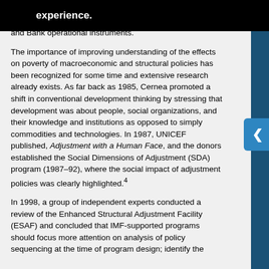in this experience. o the design of reform programs supported by the Fund and Bank operational instruments.
The importance of improving understanding of the effects on poverty of macroeconomic and structural policies has been recognized for some time and extensive research already exists. As far back as 1985, Cernea promoted a shift in conventional development thinking by stressing that development was about people, social organizations, and their knowledge and institutions as opposed to simply commodities and technologies. In 1987, UNICEF published, Adjustment with a Human Face, and the donors established the Social Dimensions of Adjustment (SDA) program (1987–92), where the social impact of adjustment policies was clearly highlighted.4
In 1998, a group of independent experts conducted a review of the Enhanced Structural Adjustment Facility (ESAF) and concluded that IMF-supported programs should focus more attention on analysis of policy sequencing at the time of program design; identify the